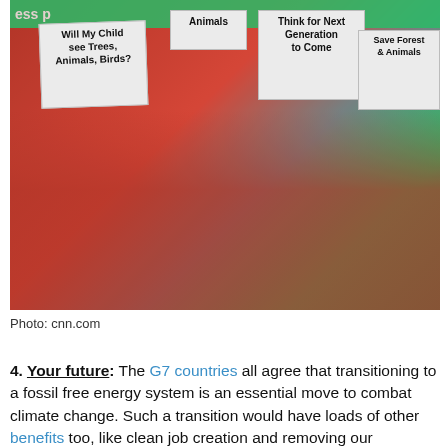[Figure (photo): Children in red vests holding protest signs at an environmental rally. Signs read: 'Will My Child see Trees, Animals, Birds?', 'Animals', 'Think for Next Generation to Come', 'Local Save Forest & Animals']
Photo: cnn.com
4. Your future: The G7 countries all agree that transitioning to a fossil free energy system is an essential move to combat climate change. Such a transition would have loads of other benefits too, like clean job creation and removing our dependence on